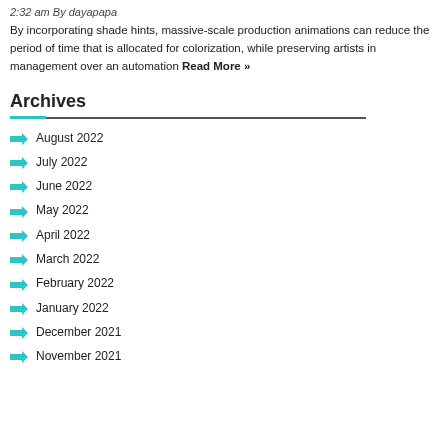2:32 am By dayapapa
By incorporating shade hints, massive-scale production animations can reduce the period of time that is allocated for colorization, while preserving artists in management over an automation Read More »
Archives
August 2022
July 2022
June 2022
May 2022
April 2022
March 2022
February 2022
January 2022
December 2021
November 2021